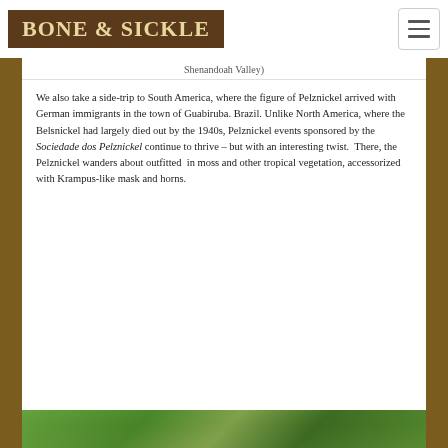BONE & SICKLE
Shenandoah Valley)
We also take a side-trip to South America, where the figure of Pelznickel arrived with German immigrants in the town of Guabiruba. Brazil. Unlike North America, where the Belsnickel had largely died out by the 1940s, Pelznickel events sponsored by the Sociedade dos Pelznickel continue to thrive – but with an interesting twist.  There, the Pelznickel wanders about outfitted in moss and other tropical vegetation, accessorized with Krampus-like mask and horns.
[Figure (photo): Bottom portion of a photo showing green tropical vegetation, partially visible at the bottom of the page.]